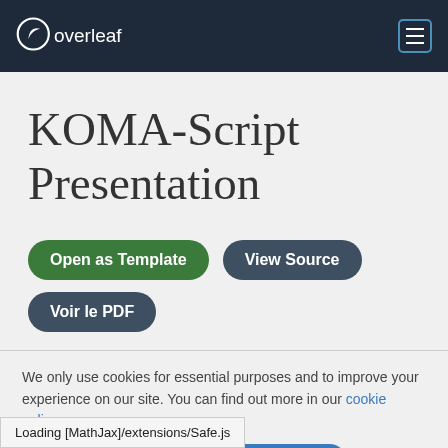[Figure (logo): Overleaf logo with leaf icon in white on dark navy header]
KOMA-Script Presentation
Open as Template
View Source
Voir le PDF
We only use cookies for essential purposes and to improve your experience on our site. You can find out more in our cookie policy.
Essential cookies only  Accept all cookies
Loading [MathJax]/extensions/Safe.js